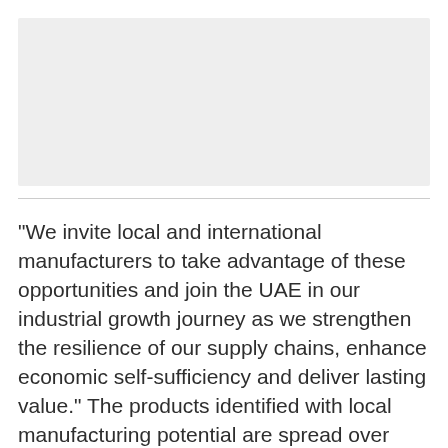[Figure (photo): Gray placeholder image area at top of page]
"We invite local and international manufacturers to take advantage of these opportunities and join the UAE in our industrial growth journey as we strengthen the resilience of our supply chains, enhance economic self-sufficiency and deliver lasting value." The products identified with local manufacturing potential are spread over drilling; mechanical and heating ventilation and airconditioning (HVAC); technology; piping, fittings and valves; electric submersible; instruments, control and